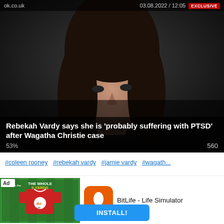ok.co.uk  03.08.2022 / 12:05
[Figure (photo): Photo of Rebekah Vardy, a woman with long dark hair, against a dark background, with an EXCLUSIVE badge in top right corner]
Rebekah Vardy says she is 'probably suffering with PTSD' after Wagatha Christie case
53%   560
#coleen rooney  #rebekah vardy  #jamie vardy  #wagath...
manchestereveningnews.co.uk  03.08.2022 / 10:55
[Figure (screenshot): Ad banner for BitLife - Life Simulator app with green and white football shirt graphic on left and BitLife orange icon on right]
BitLife - Life Simulator
INSTALL!